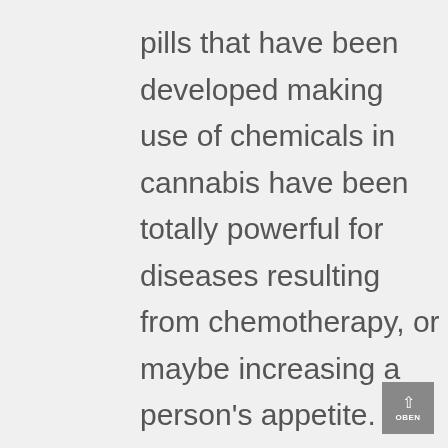pills that have been developed making use of chemicals in cannabis have been totally powerful for diseases resulting from chemotherapy, or maybe increasing a person's appetite. Cannabinoids have been found to be effective synergistically by means of the body and additionally, further chiefly,